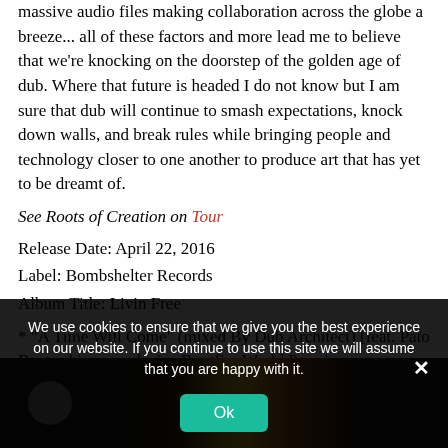massive audio files making collaboration across the globe a breeze... all of these factors and more lead me to believe that we’re knocking on the doorstep of the golden age of dub. Where that future is headed I do not know but I am sure that dub will continue to smash expectations, knock down walls, and break rules while bringing people and technology closer to one another to produce art that has yet to be dreamt of.
See Roots of Creation on Tour
Release Date: April 22, 2016
Label: Bombshelter Records
Album Title: Livin Free
* “A Time Will Come” (mixed By Dub Architect) [feat. Pato Banton] is an exclusive Rootfire World Premiere.
[Figure (photo): Dark image strip showing an album/musician photo with a circular logo element on the left and colorful guitar or album art on the right, dark background.]
We use cookies to ensure that we give you the best experience on our website. If you continue to use this site we will assume that you are happy with it.